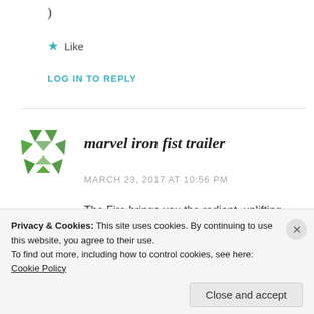)
★ Like
LOG IN TO REPLY
[Figure (logo): Green geometric logo made of triangular/polygonal shapes arranged in a circular pattern, resembling a WordPress or similar CMS avatar icon.]
marvel iron fist trailer
MARCH 23, 2017 AT 10:56 PM
The Fire brings you the radiant, uplifting story
Privacy & Cookies: This site uses cookies. By continuing to use this website, you agree to their use.
To find out more, including how to control cookies, see here: Cookie Policy
Close and accept